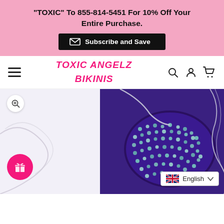"TOXIC" To 855-814-5451 For 10% Off Your Entire Purchase.
Subscribe and Save
[Figure (logo): Toxic Angelz Bikinis brand logo in pink handwritten script]
[Figure (photo): Close-up product photo of a purple rhinestone-encrusted bikini top with silver chain details on a white background]
English